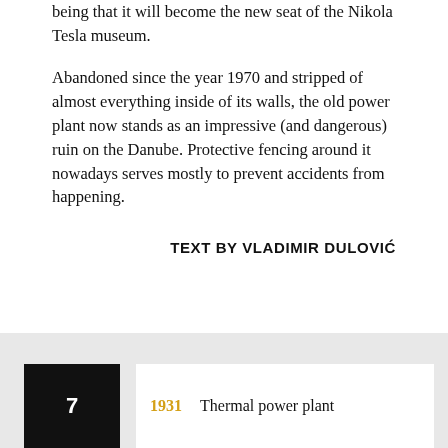being that it will become the new seat of the Nikola Tesla museum.
Abandoned since the year 1970 and stripped of almost everything inside of its walls, the old power plant now stands as an impressive (and dangerous) ruin on the Danube. Protective fencing around it nowadays serves mostly to prevent accidents from happening.
TEXT BY VLADIMIR DULOVIĆ
1931   Thermal power plant